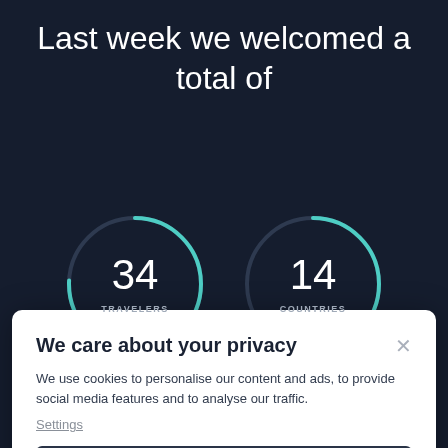Last week we welcomed a total of
[Figure (infographic): Two circular progress ring widgets side by side on dark background. Left ring shows '34' with label 'TRAVELERS', right ring shows '14' with label 'COUNTRIES'. Rings have teal/green accent arcs.]
We care about your privacy
We use cookies to personalise our content and ads, to provide social media features and to analyse our traffic.
Settings
Accept